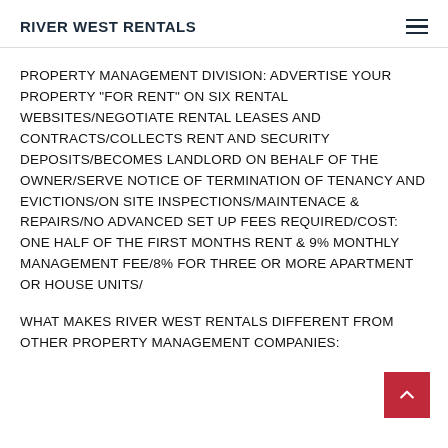RIVER WEST RENTALS
PROPERTY MANAGEMENT DIVISION: ADVERTISE YOUR PROPERTY "FOR RENT" ON SIX RENTAL WEBSITES/NEGOTIATE RENTAL LEASES AND CONTRACTS/COLLECTS RENT AND SECURITY DEPOSITS/BECOMES LANDLORD ON BEHALF OF THE OWNER/SERVE NOTICE OF TERMINATION OF TENANCY AND EVICTIONS/ON SITE INSPECTIONS/MAINTENACE & REPAIRS/NO ADVANCED SET UP FEES REQUIRED/COST: ONE HALF OF THE FIRST MONTHS RENT & 9% MONTHLY MANAGEMENT FEE/8% FOR THREE OR MORE APARTMENT OR HOUSE UNITS/
WHAT MAKES RIVER WEST RENTALS DIFFERENT FROM OTHER PROPERTY MANAGEMENT COMPANIES: